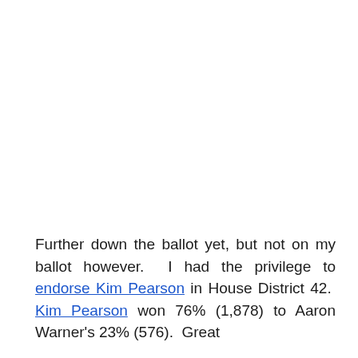Further down the ballot yet, but not on my ballot however.  I had the privilege to endorse Kim Pearson in House District 42.  Kim Pearson won 76% (1,878) to Aaron Warner's 23% (576).  Great